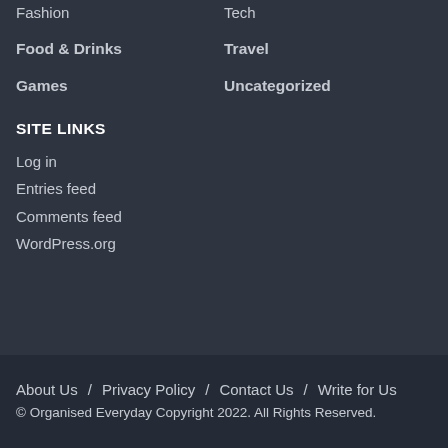Fashion
Tech
Food & Drinks
Travel
Games
Uncategorized
SITE LINKS
Log in
Entries feed
Comments feed
WordPress.org
About Us / Privacy Policy / Contact Us / Write for Us
© Organised Everyday Copyright 2022. All Rights Reserved.